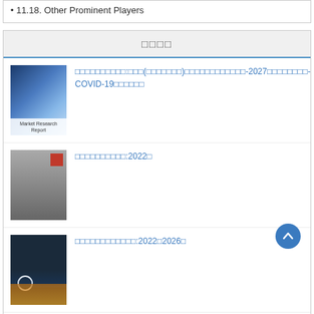11.18. Other Prominent Players
□□□□
[Figure (illustration): Market Research Report book cover with blue diagonal streaks]
□□□□□□□□□□:□□□(□□□□□□□)□□□□□□□□□□□□-2027□□□□□□□□-COVID-19□□□□□□
[Figure (illustration): Grey book cover with red square top right]
□□□□□□□□□□:2022□
[Figure (illustration): Night city aerial photo with glowing roads]
□□□□□□□□□□□□:2022□2026□
[Figure (illustration): Dark green cover with screen/code interface]
□□□□□□□□□□□□□□□□□□□□□□2022-2027□